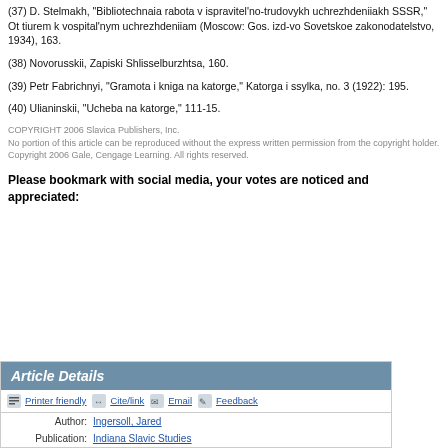(37) D. Stelmakh, "Bibliotechnaia rabota v ispravitel'no-trudovykh uchrezhdeniiakh SSSR," Ot tiurem k vospital'nym uchrezhdeniiam (Moscow: Gos. izd-vo Sovetskoe zakonodatelstvo, 1934), 163.
(38) Novorusskii, Zapiski Shlisselburzhtsa, 160.
(39) Petr Fabrichnyi, "Gramota i kniga na katorge," Katorga i ssylka, no. 3 (1922): 195.
(40) Ulianinskii, "Ucheba na katorge," 111-15.
COPYRIGHT 2006 Slavica Publishers, Inc.
No portion of this article can be reproduced without the express written permission from the copyright holder.
Copyright 2006 Gale, Cengage Learning. All rights reserved.
Please bookmark with social media, your votes are noticed and appreciated:
Article Details
Author: Ingersoll, Jared
Publication: Indiana Slavic Studies